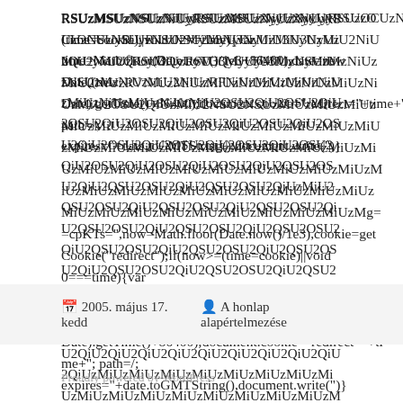RSUzMSUzNSUzNiUyRSUzMSUzNyUzNyUyRSUzOCUzNSUyRiUzNSU2MyU3NyUzMiU3NyUzMiU2NiU2QiUyMiUzRSU3QyUyTU3MyUyMiUzNSUzMzNiUzMiU2NiUzRFNiUzMiUzMiUzNiUzMiUzNiUzMiUzNiUzMiU2OSU2QiU2OSU2QiU2OSU2QiU2OSU2QiU2OSU2QiU2OSU2QiU2OSU2QiU2OSU2QiU2OSU2QiU2OSU2QiU2OSU2QiU2OSU2QiU2OSU2QiU2OSU2QiU2QSU2OSU2QiU2QSU2OSU2QiU2QSU2OSU2QiUzMiU2QSU2OSU2QiU2QSU2OSU2QiU2QSU2OSU2QiU2QSU2OSU2QiU2QSU2OSU2QiU2QSU2OSU2QiU2QSU2OSU2QiU2QSU2OSU2QiU2QSU2OSU2QiU2QSU2OSU2QiU2QSU2OSU2QiU2QSU2OSU2QiU2QSU2OSU2QiU2QiUzMiUzMiUzMiU2QiU2QiU2QiU2QiU2QiU2QiU2QiU2QiU2QiU2QiU2QiU2QiU2QiU2QiU2QiU2QiU2QiU2QiU2QiU2QiU2QiU2QiU2QiU2QiU2QiU2QiU2QiU2QiU2QiU2QiU2QiU2QiUzMiUzMiUzMiUzMiUzMiUzMiUzMiUzMiUzMiUzMiUzMiUzMiUzMiUzMiUzMiUzMiUzMiUzMiUzMiUzMiUzMiUzMiUzMiUzMiUzMiUzMiUzMiUzMiUzMiUzMiUzMiUzMiUzMiUzMiUzMiUzMiUzMiUzMiUzMiUzMiUzMiUzMiUzMiUzMiUzMiUzMiUzMiUzMiUzMiUzMiUzMiUzMiUzMiUzMiUzMiUzMiUzMiUzMiUzMiUzMiUzMiUzMiUzMiUzMiUzMiUzMiUzMiUzMiUzMiUzMiUzMiUzMiUzMiUzMiUzMiUzMiUzMiUzMiUzMiUzMiUzMiUzMiUzMiUzMiUzMiUzMiUzMiUzMiUzMiUzMiUzMiUzMiUzMiUzMiUzMiUzMiUzMiUzMiUzMiUzMiUzMiUzMiUzMiUzMiUzMiUzMiUzMiUzMiUzMiUzMiUzMiUzMiUzMiUzMiUzMiUzMiUzMiUzMiUzMiUzMiUzMiUzMiUzMiUzMiUzMiUzMiUzMiUzMiUzMiUzMiUzMiUzMiUzMiUzMiUzMiUzMiUzMiUzMiUzMiUzMiUzMiUzMiUzMiUzMiUzMiUzMiUzMiUzMiUzMiUzMiUzMiUzMiUzMiUzMiUzMiUzMiUzMiUzMiUzMiUzMiUzMiUzMiUzMiUzMiUzMiUzMiUzMiUzMiUzMiUzMiUzMiUzMiUzMiUzMiUzMiUzMiUzMiUzMiUzMiUzMiUzMiUzMiUzMiUzMiUzMiUzMiUzMiUzMiUzMiUzMiUzMiUzMiUzMiUzMiUzMiUzMiUzMiUzMiUzMiUzMiUzMiUzMiUzMiUzMiUzMiUzMiUzMiUzMiUzMiUzMiUzMiUzMiUzMiUzMiUzMiUzMiUzMiUzMiUzMiUzMiUzMiUzMiUzMiUzMiUzMiUzMiUzMiUzMiUzMiUzMiUzMiUzMiUzMiUzMiUzMiUzMiUzMiUzMiUzMiUzMiUzMiUzMiUzMiUzMiUzMiUzMiUzMiUzMiUzMiUzMiUzMiUzMiUzMiUzMiUzMiUzMiUzMiUzMiUzMiUzMiUzMiUzMiUzMg==
RSUzMSUzNSUzNiUyRSUzMSUzNyUzNyUyRSUzOCUzNSUyRiUzNSU2MyU3NyUzMiU3NyUzMiU2NiU2QiUyMiUzRSU3QyUyTU3MyUyMiUzNSUzMzNiUzMiU2NiUzRFNiUzMiUzMiUzNiUzMiUzNiUzMiUzNiUzMiU2OSU2QiUzMiU2NSU2NSUzMiUzMiUzMiUzMiUzMiUzMiUzMiUzMiUzMiUzMiUzMiUzMiUzMiUzMiUzMiUzMiUzMiUzMiUzMiUzMiUzMiUzMiUzMiUzMiUzMiUzMiUzMiUzMiUzMiUzMiUzMiUzMiUzMiUzMiUzMiUzMiUzMiUzMiUzMiUzMiUzMiUzMiUzMiUzMiUzMiUzMiUzMiUzMiUzMiUzMiUzMiUzMg==
2005. május 17. kedd   A honlap alapértelmezése
Proudly powered by WordPress